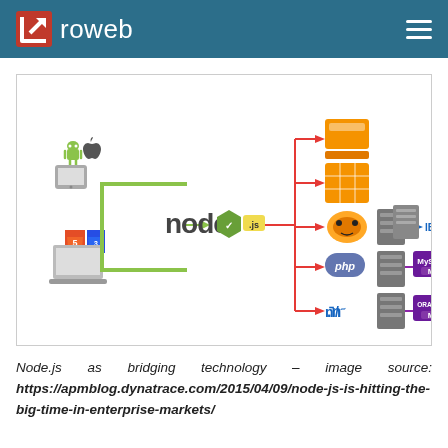roweb
[Figure (infographic): Node.js as bridging technology diagram showing mobile/web clients (Android, Apple, HTML5) connecting via Node.js to multiple backend services: orange storage icons, PHP, Tiger/MySQL, .NET/Oracle, with IBM integration, all connected with red and blue arrows.]
Node.js as bridging technology – image source: https://apmblog.dynatrace.com/2015/04/09/node-js-is-hitting-the-big-time-in-enterprise-markets/